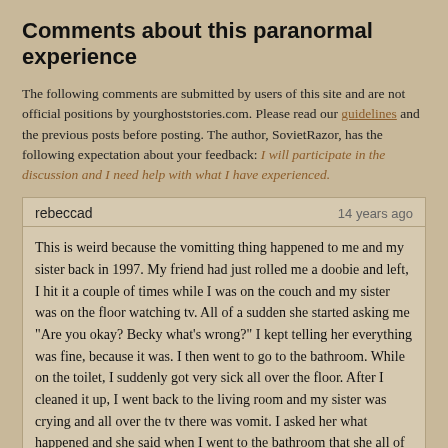Comments about this paranormal experience
The following comments are submitted by users of this site and are not official positions by yourghoststories.com. Please read our guidelines and the previous posts before posting. The author, SovietRazor, has the following expectation about your feedback: I will participate in the discussion and I need help with what I have experienced.
rebeccad — 14 years ago
This is weird because the vomitting thing happened to me and my sister back in 1997. My friend had just rolled me a doobie and left, I hit it a couple of times while I was on the couch and my sister was on the floor watching tv. All of a sudden she started asking me "Are you okay? Becky what's wrong?" I kept telling her everything was fine, because it was. I then went to go to the bathroom. While on the toilet, I suddenly got very sick all over the floor. After I cleaned it up, I went back to the living room and my sister was crying and all over the tv there was vomit. I asked her what happened and she said when I went to the bathroom that she all of a sudden felt sick and threw up all over the tv.
JohorMsia — 14 years ago